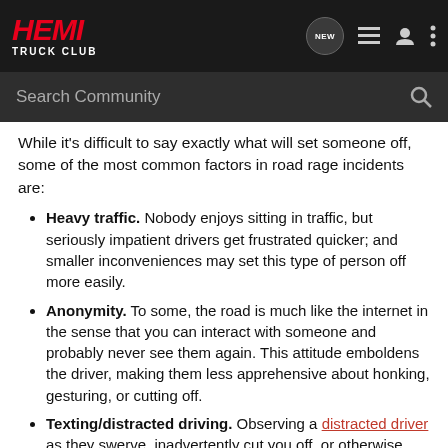HEMI TRUCK CLUB
While it's difficult to say exactly what will set someone off, some of the most common factors in road rage incidents are:
Heavy traffic. Nobody enjoys sitting in traffic, but seriously impatient drivers get frustrated quicker; and smaller inconveniences may set this type of person off more easily.
Anonymity. To some, the road is much like the internet in the sense that you can interact with someone and probably never see them again. This attitude emboldens the driver, making them less apprehensive about honking, gesturing, or cutting off.
Texting/distracted driving. Observing a distracted driver as they swerve, inadvertently cut you off, or otherwise drive erratically can be a scary sight, which can result in anger directed toward the irresponsible driver. However, it